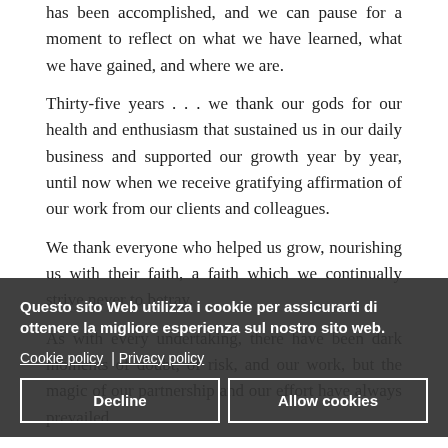has been accomplished, and we can pause for a moment to reflect on what we have learned, what we have gained, and where we are.
Thirty-five years . . . we thank our gods for our health and enthusiasm that sustained us in our daily business and supported our growth year by year, until now when we receive gratifying affirmation of our work from our clients and colleagues.
We thank everyone who helped us grow, nourishing us with their faith, a faith which we continually strive never to betray.
As with every undertaking, there have been dark moments of doubt, of risk, and our work, but the magic of our partnership and our effort have always prevailed.
We have been challenged mentally and economically not simply to maintain our competence but to excel in
[Figure (screenshot): Cookie consent banner overlay with dark semi-transparent background. Contains Italian text: 'Questo sito Web utilizza i cookie per assicurarti di ottenere la migliore esperienza sul nostro sito web.' with links to 'Cookie policy' and 'Privacy policy', and two buttons: 'Decline' and 'Allow cookies'.]